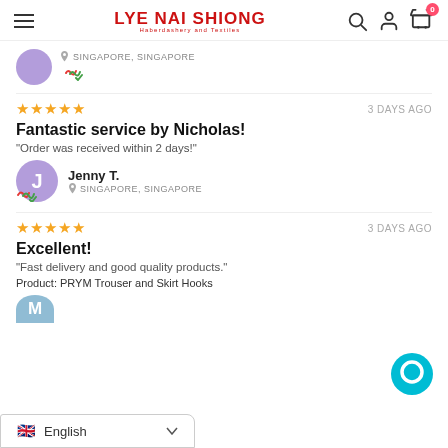LYE NAI SHIONG — Haberdashery and Textiles
SINGAPORE, SINGAPORE
★★★★★   3 DAYS AGO
Fantastic service by Nicholas!
"Order was received within 2 days!"
Jenny T. — SINGAPORE, SINGAPORE
★★★★★   3 DAYS AGO
Excellent!
"Fast delivery and good quality products."
Product: PRYM Trouser and Skirt Hooks
English